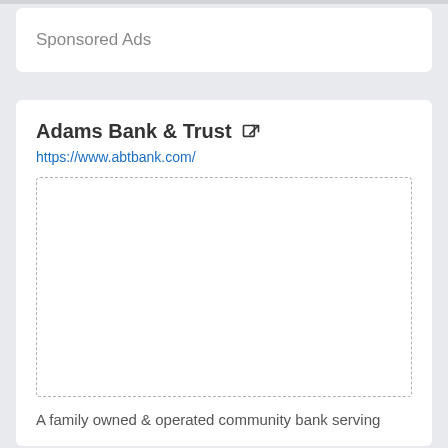Sponsored Ads
Adams Bank & Trust
https://www.abtbank.com/
[Figure (other): Empty dashed-border placeholder image box for Adams Bank & Trust advertisement]
A family owned & operated community bank serving